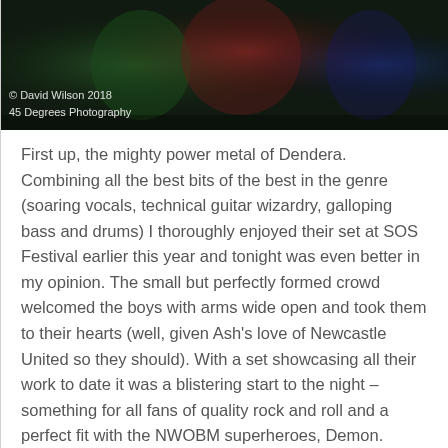[Figure (photo): Concert/live music photo showing performers on stage with dramatic lighting in greens and reds, dark background]
© David Wilson 2018
45 Degrees Photography
First up, the mighty power metal of Dendera. Combining all the best bits of the best in the genre (soaring vocals, technical guitar wizardry, galloping bass and drums) I thoroughly enjoyed their set at SOS Festival earlier this year and tonight was even better in my opinion. The small but perfectly formed crowd welcomed the boys with arms wide open and took them to their hearts (well, given Ash's love of Newcastle United so they should). With a set showcasing all their work to date it was a blistering start to the night – something for all fans of quality rock and roll and a perfect fit with the NWOBM superheroes, Demon. Quality stuff from an awesome band, do yourselves a favour and check them out as soon as you get chance